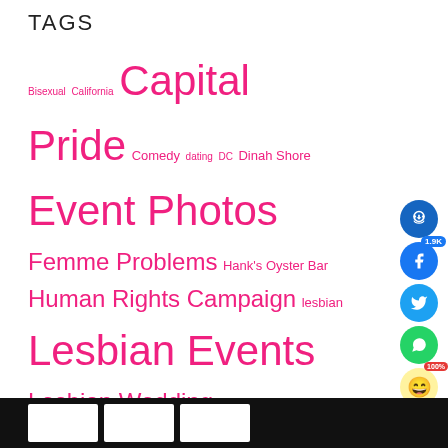TAGS
Bisexual California Capital Pride Comedy dating DC Dinah Shore Event Photos Femme Problems Hank's Oyster Bar Human Rights Campaign lesbian Lesbian Events Lesbian Wedding Lez Hang Out LGBTQ LGBTQ History LGBTQ Youth Marriage Equality Maryland Mental Health music Phase 1 Photos Podcast QPOC Queer Artists QueerGirl Events QueerGxrl Rehoboth Beach relationships Same-sex marriage San Diego sex and relationships Tagg Magazine Tagg Nation The Word Generation Q trans Transgender Virginia Washington Washington DC Wedding Announcement Whitman-Walker Health Women You Should Meet
[Figure (infographic): Social sharing panel with headphone icon button (blue), Facebook share button (blue, 1.9K count), Twitter button (light blue), WhatsApp button (green), emoji reaction button (100%), and red chat bubble button]